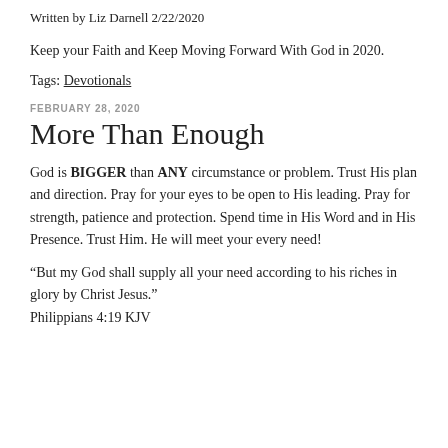Written by Liz Darnell 2/22/2020
Keep your Faith and Keep Moving Forward With God in 2020.
Tags: Devotionals
FEBRUARY 28, 2020
More Than Enough
God is BIGGER than ANY circumstance or problem. Trust His plan and direction. Pray for your eyes to be open to His leading. Pray for strength, patience and protection. Spend time in His Word and in His Presence. Trust Him. He will meet your every need!
“But my God shall supply all your need according to his riches in glory by Christ Jesus.”
Philippians 4:19 KJV